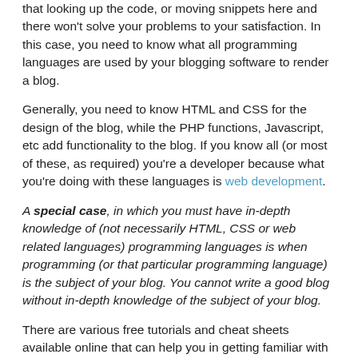that looking up the code, or moving snippets here and there won't solve your problems to your satisfaction. In this case, you need to know what all programming languages are used by your blogging software to render a blog.
Generally, you need to know HTML and CSS for the design of the blog, while the PHP functions, Javascript, etc add functionality to the blog. If you know all (or most of these, as required) you're a developer because what you're doing with these languages is web development.
A special case, in which you must have in-depth knowledge of (not necessarily HTML, CSS or web related languages) programming languages is when programming (or that particular programming language) is the subject of your blog. You cannot write a good blog without in-depth knowledge of the subject of your blog.
There are various free tutorials and cheat sheets available online that can help you in getting familiar with basic. Also, if you read blogs (like this one!) you'll find various tutorials on how to do the most basic things for your blog – like how to make a link open in a new window or tab or How to customize Feedburner RSS Email Subscription Form. If you get stuck somewhere, search the internet and you'll always find something resourceful. Read books on programming, web design and development if you need to, or for the sake of interest. You may not